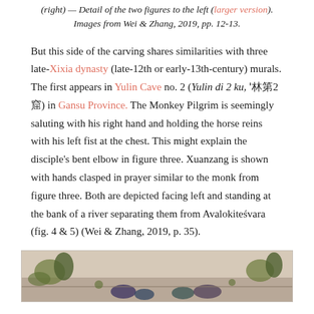(right) — Detail of the two figures to the left (larger version). Images from Wei & Zhang, 2019, pp. 12-13.
But this side of the carving shares similarities with three late-Xixia dynasty (late-12th or early-13th-century) murals. The first appears in Yulin Cave no. 2 (Yulin di 2 ku, 榆林第2窟) in Gansu Province. The Monkey Pilgrim is seemingly saluting with his right hand and holding the horse reins with his left fist at the chest. This might explain the disciple's bent elbow in figure three. Xuanzang is shown with hands clasped in prayer similar to the monk from figure three. Both are depicted facing left and standing at the bank of a river separating them from Avalokiteśvara (fig. 4 & 5) (Wei & Zhang, 2019, p. 35).
[Figure (photo): A mural painting showing figures in a landscape with vegetation, partially visible at the bottom of the page.]